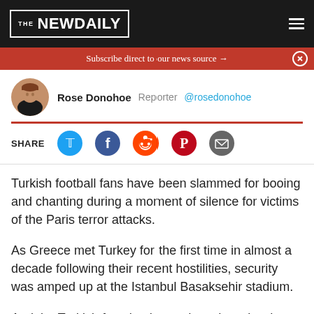THE NEW DAILY
Subscribe direct to our news source →
Rose Donohoe  Reporter  @rosedonohoe
SHARE
Turkish football fans have been slammed for booing and chanting during a moment of silence for victims of the Paris terror attacks.
As Greece met Turkey for the first time in almost a decade following their recent hostilities, security was amped up at the Istanbul Basaksehir stadium.
And the Turkish fans let themselves down in what was meant to be a pre-match moment of reflection held at a number of